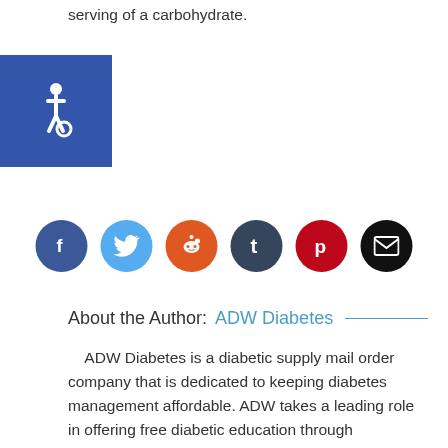serving of a carbohydrate.
[Figure (illustration): Blue accessibility wheelchair icon on dark blue square background]
[Figure (illustration): Row of six social media sharing buttons: Facebook (dark blue), Twitter (light blue), Reddit (orange), Tumblr (dark blue-grey), Pinterest (dark red), Email (black)]
About the Author: ADW Diabetes
ADW Diabetes is a diabetic supply mail order company that is dedicated to keeping diabetes management affordable. ADW takes a leading role in offering free diabetic education through Destination Diabetes, an informational component of the ADW website featuring tips and advice from diabetes and nutrition experts, diabetic recipes